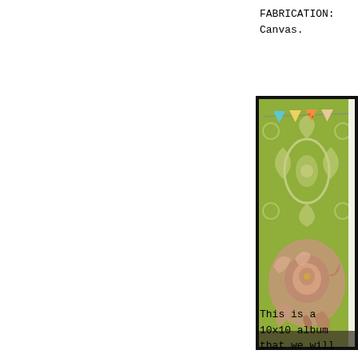FABRICATION:
Canvas.
[Figure (photo): A photo showing a craft/scrapbooking scene: olive green damask patterned background with colorful bunting flags at the top (blue, yellow, orange with polka dots) and a large ruffled fabric flower in mauve/dusty pink in the lower half. The image is portrait-oriented and framed with a thick black border.]
This is a 10x10 album that we will